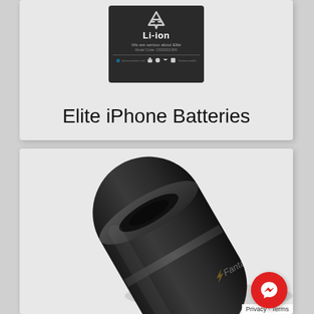[Figure (photo): Product label for Elite iPhone Batteries showing Li-ion text, recycling symbol, 'We are serious about Elite', model code, social media icons and website on dark background]
Elite iPhone Batteries
[Figure (photo): Close-up product photo of a black cylindrical car charger/battery device with a logo on a light gray background]
Privacy · Terms